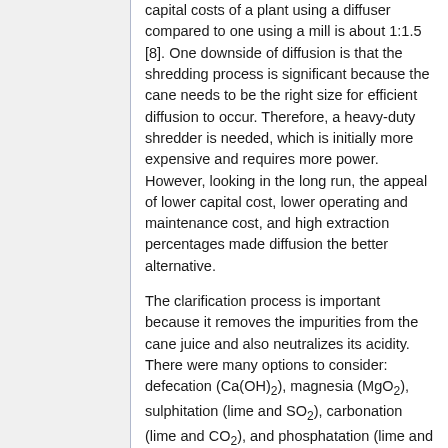capital costs of a plant using a diffuser compared to one using a mill is about 1:1.5 [8]. One downside of diffusion is that the shredding process is significant because the cane needs to be the right size for efficient diffusion to occur. Therefore, a heavy-duty shredder is needed, which is initially more expensive and requires more power. However, looking in the long run, the appeal of lower capital cost, lower operating and maintenance cost, and high extraction percentages made diffusion the better alternative.
The clarification process is important because it removes the impurities from the cane juice and also neutralizes its acidity. There were many options to consider: defecation (Ca(OH)2), magnesia (MgO2), sulphitation (lime and SO2), carbonation (lime and CO2), and phosphatation (lime and H3PO4) [7]. Each differ in cost, the time needed to precipitate the impurities, and product purity. With these factors in mind, which decided the best process will be...